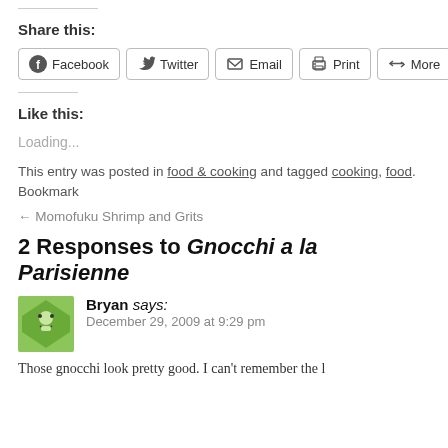Share this:
[Figure (other): Social sharing buttons: Facebook, Twitter, Email, Print, More]
Like this:
Loading...
This entry was posted in food & cooking and tagged cooking, food. Bookmark
← Momofuku Shrimp and Grits
2 Responses to Gnocchi a la Parisienne
Bryan says: December 29, 2009 at 9:29 pm
Those gnocchi look pretty good. I can't remember the l